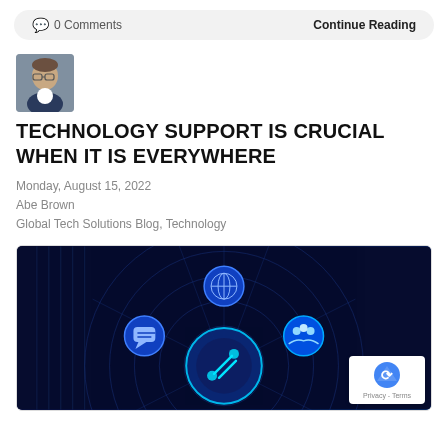0 Comments    Continue Reading
[Figure (photo): Author headshot: man with glasses wearing a dark blazer]
TECHNOLOGY SUPPORT IS CRUCIAL WHEN IT IS EVERYWHERE
Monday, August 15, 2022
Abe Brown
Global Tech Solutions Blog, Technology
[Figure (illustration): Dark blue tech graphic with circular radar/network diagram showing icons for globe, chat, users, and a wrench/tools symbol in the center, representing technology support services]